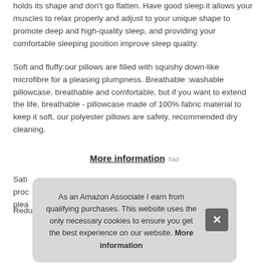holds its shape and don't go flatten. Have good sleep.it allows your muscles to relax properly and adjust to your unique shape to promote deep and high-quality sleep, and providing your comfortable sleeping position improve sleep quality.
Soft and fluffy:our pillows are filled with squishy down-like microfibre for a pleasing plumpness. Breathable :washable pillowcase, breathable and comfortable, but if you want to extend the life, breathable - pillowcase made of 100% fabric material to keep it soft, our polyester pillows are safety, recommended dry cleaning.
More information #ad
Sati... proc... plea...
As an Amazon Associate I earn from qualifying purchases. This website uses the only necessary cookies to ensure you get the best experience on our website. More information
Reduce neck pain:unique seam design for better support of